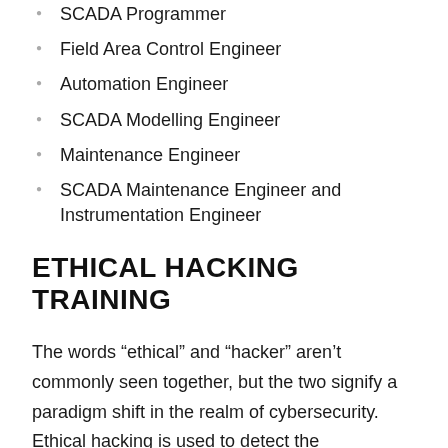SCADA Programmer
Field Area Control Engineer
Automation Engineer
SCADA Modelling Engineer
Maintenance Engineer
SCADA Maintenance Engineer and Instrumentation Engineer
ETHICAL HACKING TRAINING
The words “ethical” and “hacker” aren’t commonly seen together, but the two signify a paradigm shift in the realm of cybersecurity. Ethical hacking is used to detect the vulnerabilities of a system or a group of systems. But it is not the conventional security measure utilized. In order to